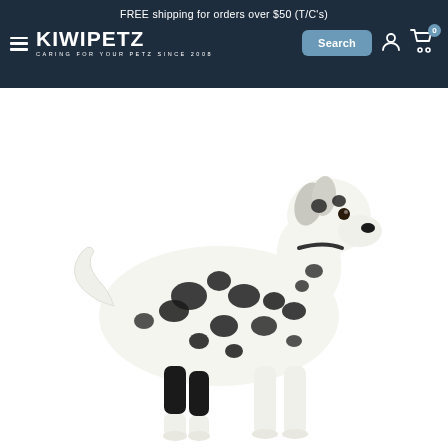FREE shipping for orders over $50 (T/C's)
[Figure (logo): KiwiPetz logo - white bold text reading KIWIPETZ with tagline CARING FOR YOUR PETZ SINCE 2008]
[Figure (photo): Dalmatian dog standing in profile view facing right, wearing a black knee brace on one hind leg, on white background]